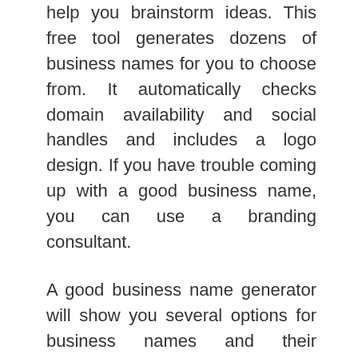help you brainstorm ideas. This free tool generates dozens of business names for you to choose from. It automatically checks domain availability and social handles and includes a logo design. If you have trouble coming up with a good business name, you can use a branding consultant.
A good business name generator will show you several options for business names and their availability. You can also choose a domain name based on the keywords that best describe your business. Once you've selected a business name, you can create an eCommerce store around it or use it for your website. Business name generators are the easiest and most popular way to develop a catchy business name for your moving company.
Permits and licenses